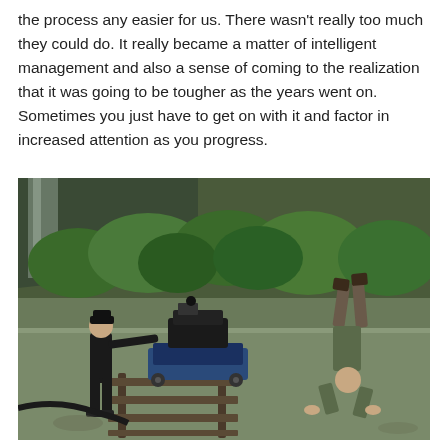the process any easier for us. There wasn't really too much they could do. It really became a matter of intelligent management and also a sense of coming to the realization that it was going to be tougher as the years went on. Sometimes you just have to get on with it and factor in increased attention as you progress.
[Figure (photo): Behind-the-scenes film production photo taken outdoors in a lush green landscape with a waterfall in the background. On the left, a crew member in dark clothing operates a camera on a dolly track system. On the right, a performer is doing a handstand on the ground. The setting appears to be Iceland or similar rugged natural environment with green vegetation and rocky cliffs.]